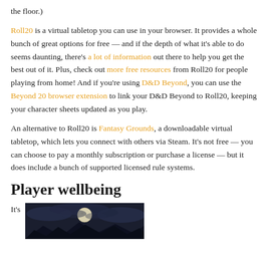the floor.)
Roll20 is a virtual tabletop you can use in your browser. It provides a whole bunch of great options for free — and if the depth of what it's able to do seems daunting, there's a lot of information out there to help you get the best out of it. Plus, check out more free resources from Roll20 for people playing from home! And if you're using D&D Beyond, you can use the Beyond 20 browser extension to link your D&D Beyond to Roll20, keeping your character sheets updated as you play.
An alternative to Roll20 is Fantasy Grounds, a downloadable virtual tabletop, which lets you connect with others via Steam. It's not free — you can choose to pay a monthly subscription or purchase a license — but it does include a bunch of supported licensed rule systems.
Player wellbeing
It's
[Figure (photo): A night scene photo showing a full moon in a cloudy dark sky above silhouetted mountains.]